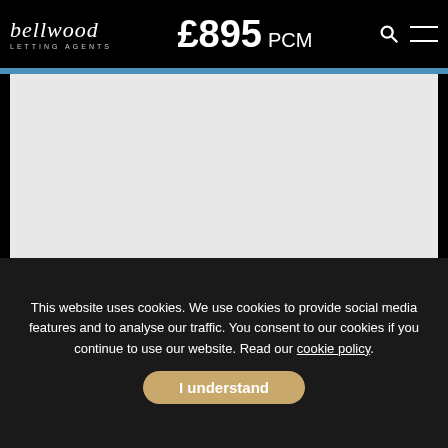bellwood LETTING AGENTS — £895 PCM
[Figure (photo): Main property listing photo placeholder (light grey rectangle)]
[Figure (photo): Left thumbnail property photo placeholder]
[Figure (photo): Right thumbnail property photo placeholder]
This website uses cookies. We use cookies to provide social media features and to analyse our traffic. You consent to our cookies if you continue to use our website. Read our cookie policy.
I understand